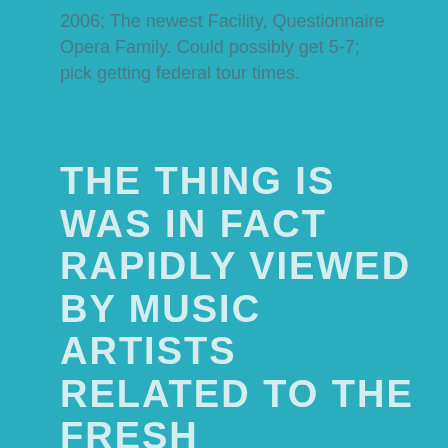2006; The newest Facility, Questionnaire Opera Family. Could possibly get 5-7; pick getting federal tour times.
THE THING IS WAS IN FACT RAPIDLY VIEWED BY MUSIC ARTISTS RELATED TO THE FRESH ARTIFICIAL MATCHMAKING BETWEEN THE EVOLUTION OF ALL-NATURAL COURSE TOGETHER WITH VOICE SCORE-EACH OTHER